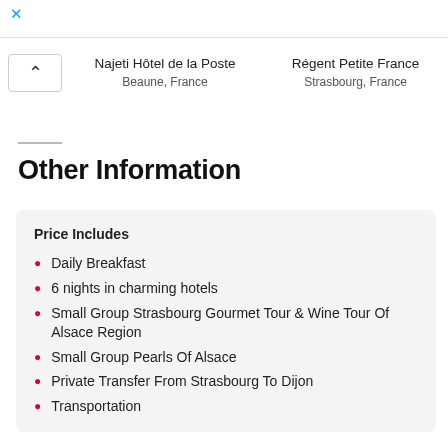Najeti Hôtel de la Poste
Beaune, France
Régent Petite France
Strasbourg, France
Other Information
Price Includes
Daily Breakfast
6 nights in charming hotels
Small Group Strasbourg Gourmet Tour & Wine Tour Of Alsace Region
Small Group Pearls Of Alsace
Private Transfer From Strasbourg To Dijon
Transportation